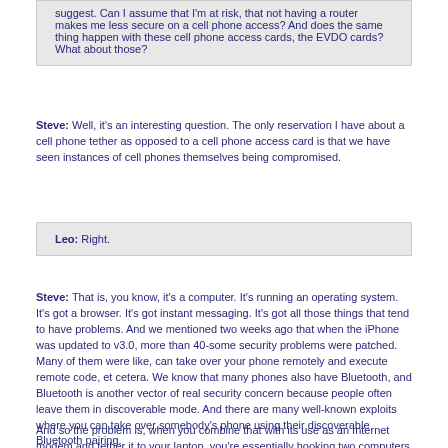suggest. Can I assume that I'm at risk, that not having a router makes me less secure on a cell phone access? And does the same thing happen with these cell phone access cards, the EVDO cards? What about those?
Steve: Well, it's an interesting question. The only reservation I have about a cell phone tether as opposed to a cell phone access card is that we have seen instances of cell phones themselves being compromised.
Leo: Right.
Steve: That is, you know, it's a computer. It's running an operating system. It's got a browser. It's got instant messaging. It's got all those things that tend to have problems. And we mentioned two weeks ago that when the iPhone was updated to v3.0, more than 40-some security problems were patched. Many of them were like, can take over your phone remotely and execute remote code, et cetera. We know that many phones also have Bluetooth, and Bluetooth is another vector of real security concern because people often leave them in discoverable mode. And there are many well-known exploits where you can take over somebody's phone using their discoverable Bluetooth pairing.
And so the problem is, when you combine that with its use as an Internet modem and tether it to your laptop, you're essentially hooking two computers together, one which tends to be exposed to a lot of